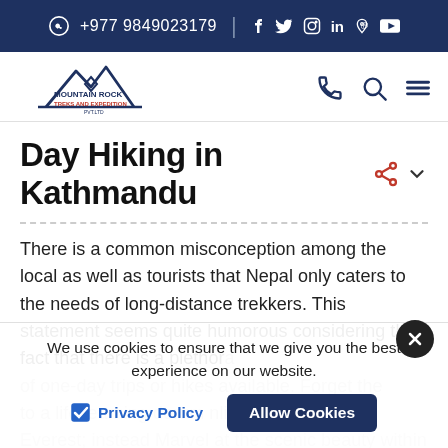+977 9849023179  f  ⌖  ☐  in  ℗  ▶
[Figure (logo): Mountain Rock Treks and Expedition Pvt. Ltd. logo with mountain graphic]
Day Hiking in Kathmandu
There is a common misconception among the local as well as tourists that Nepal only caters to the needs of long-distance trekkers. This statement seems quite humorous considering the fact that there is a plethora of one-day trips or hikes available. Forget the traditional trekking destinations like Annapurna or Everest; instead Marvel at the scenic beauty within the Kathmandu valley.
We use cookies to ensure that we give you the best experience on our website.
Privacy Policy  |  Allow Cookies